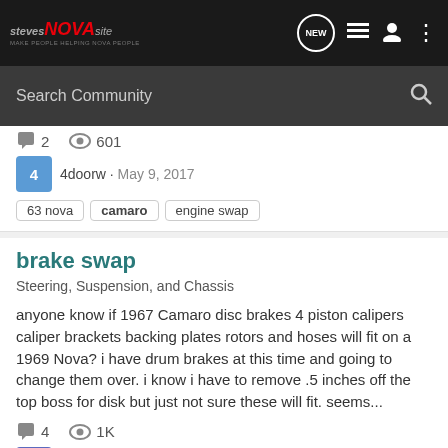StevesNOVAsite — Make people helping NOVA people
Search Community
2 comments · 601 views
4doorw · May 9, 2017
63 nova
camaro
engine swap
brake swap
Steering, Suspension, and Chassis
anyone know if 1967 Camaro disc brakes 4 piston calipers caliper brackets backing plates rotors and hoses will fit on a 1969 Nova? i have drum brakes at this time and going to change them over. i know i have to remove .5 inches off the top boss for disk but just not sure these will fit. seems...
4 comments · 1K views
Bkoon · Apr 8, 2014